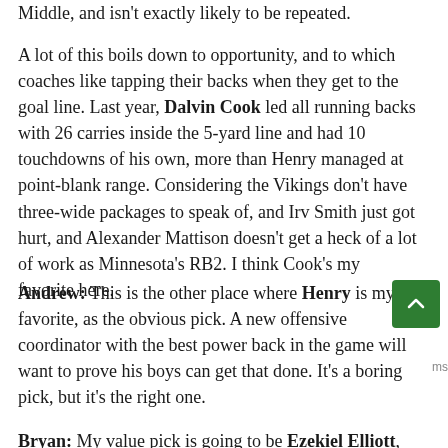Middle, and isn't exactly likely to be repeated.
A lot of this boils down to opportunity, and to which coaches like tapping their backs when they get to the goal line. Last year, Dalvin Cook led all running backs with 26 carries inside the 5-yard line and had 10 touchdowns of his own, more than Henry managed at point-blank range. Considering the Vikings don't have three-wide packages to speak of, and Irv Smith just got hurt, and Alexander Mattison doesn't get a heck of a lot of work as Minnesota's RB2. I think Cook's my favorite here.
Andrew: This is the other place where Henry is my favorite, as the obvious pick. A new offensive coordinator with the best power back in the game will want to prove his boys can get that done. It's a boring pick, but it's the right one.
Bryan: My value pick is going to be Ezekiel Elliott,